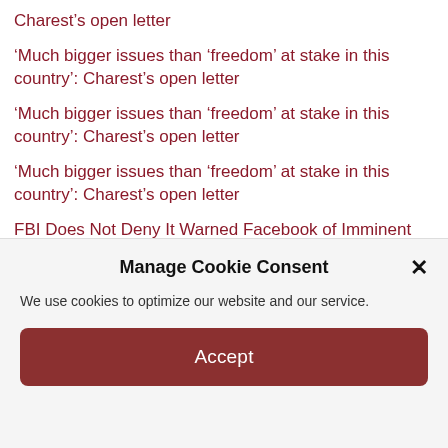Charest’s open letter
‘Much bigger issues than ‘freedom’ at stake in this country’: Charest’s open letter
‘Much bigger issues than ‘freedom’ at stake in this country’: Charest’s open letter
‘Much bigger issues than ‘freedom’ at stake in this country’: Charest’s open letter
FBI Does Not Deny It Warned Facebook of Imminent ‘Dump’ of ‘Russian Propaganda’ Before Hunter’s Laptop Story Broke
Manage Cookie Consent
We use cookies to optimize our website and our service.
Accept